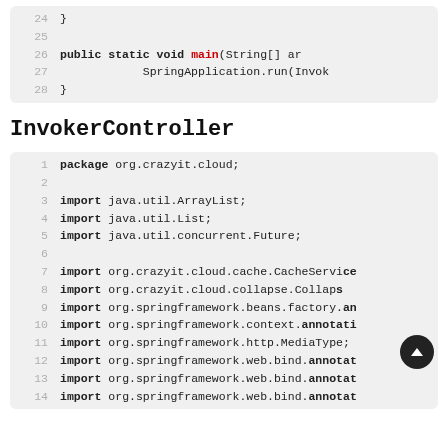[Figure (screenshot): Code block showing lines 24-28 of Java source: closing brace, public static void main method with SpringApplication.run call, and closing brace]
InvokerController
[Figure (screenshot): Code block showing lines 1-14 of InvokerController Java source: package declaration, imports for ArrayList, List, Future, CacheService, Collapse, springframework beans/context/http/web.bind annotations]